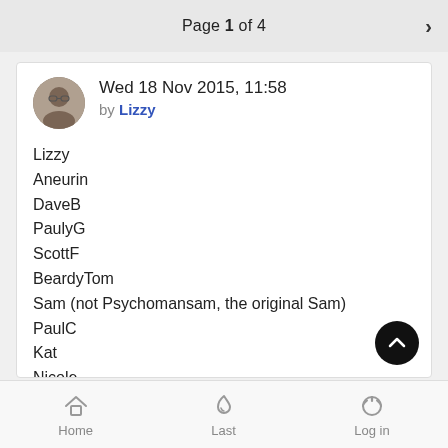Page 1 of 4
Wed 18 Nov 2015, 11:58 by Lizzy
Lizzy
Aneurin
DaveB
PaulyG
ScottF
BeardyTom
Sam (not Psychomansam, the original Sam)
PaulC
Kat
Nicole
Nic
JohnH
Home   Last   Log in